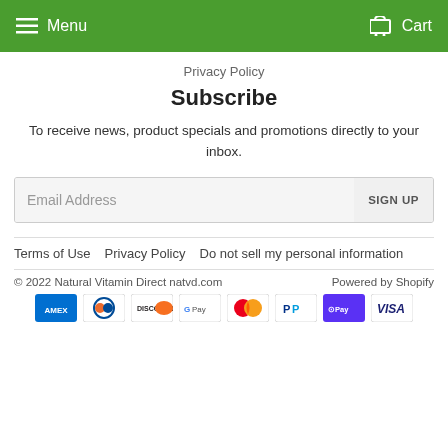Menu  Cart
Privacy Policy
Subscribe
To receive news, product specials and promotions directly to your inbox.
Email Address  SIGN UP
Terms of Use  Privacy Policy  Do not sell my personal information
© 2022 Natural Vitamin Direct natvd.com  Powered by Shopify
[Figure (logo): Payment method icons: American Express, Diners Club, Discover, Google Pay, Mastercard, PayPal, Shop Pay, Visa]